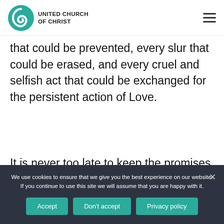[Figure (logo): United Church of Christ logo with teal spiral and text]
that could be prevented, every slur that could be erased, and every cruel and selfish act that could be exchanged for the persistent action of Love.
It is never too late to keep the promises we've made. We do not earn Love.
We use cookies to ensure that we give you the best experience on our website. If you continue to use this site we will assume that you are happy with it.